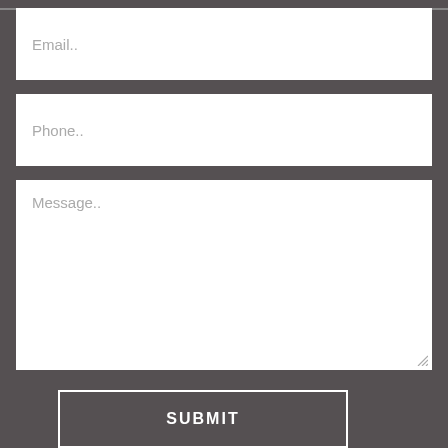[Figure (screenshot): Web contact form partial view showing Email, Phone, and Message input fields on a dark gray background]
Email..
Phone..
Message..
SUBMIT
About Us
Applicants
Testimonials
[Figure (logo): reCAPTCHA badge with blue circular arrow logo and Privacy - Terms text]